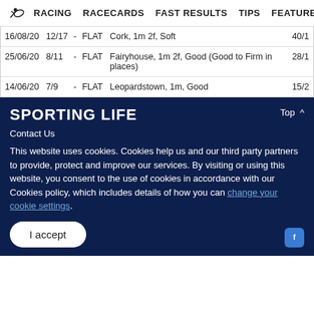RACING  RACECARDS  FAST RESULTS  TIPS  FEATURES
| Date | Pos |  | Type | Race | Odds |
| --- | --- | --- | --- | --- | --- |
| 16/08/20 | 12/17 | - | FLAT | Cork, 1m 2f, Soft | 40/1 |
| 25/06/20 | 8/11 | - | FLAT | Fairyhouse, 1m 2f, Good (Good to Firm in places) | 28/1 |
| 14/06/20 | 7/9 | - | FLAT | Leopardstown, 1m, Good | 15/2 |
SPORTING LIFE
Top ^
Contact Us
This website uses cookies. Cookies help us and our third party partners to provide, protect and improve our services. By visiting or using this website, you consent to the use of cookies in accordance with our Cookies policy, which includes details of how you can change your cookie settings.
I accept